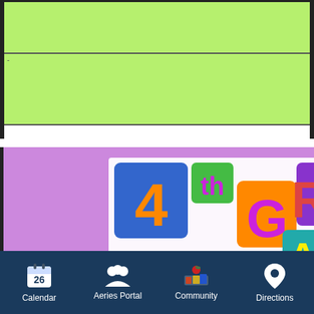[Figure (other): Two green rows in a table layout with dark borders, representing a schedule or planner rows]
[Figure (illustration): 4th Grade Wonders colorful logo banner with bright letters on colored blocks against purple background]
Link to 4th Grade Wonders Folder documents, forms, and suggestions implementation of Wonders.
* The Teachers Guide - Week by Week overview and activity sheets.
* READING - Short Texts to show the different Graphic Organizers for different Text Structures
Problem Solution BLM
Calendar  Aeries Portal  Community  Directions